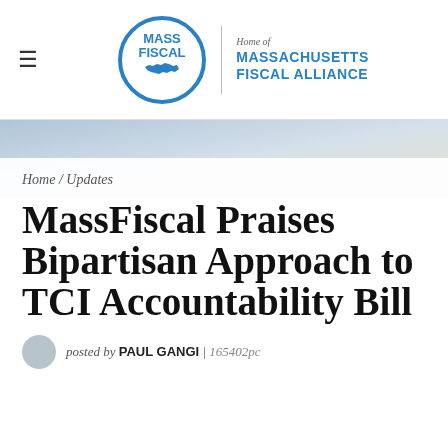[Figure (logo): MassFiscal.org logo — circular blue ring with MASS FISCAL .org text and Massachusetts outline map, beside vertical divider and 'Home of MASSACHUSETTS FISCAL ALLIANCE' text]
[Figure (photo): Hero banner background photograph — coastal or landscape scene with muted blue-grey and pale golden tones]
Home / Updates
MassFiscal Praises Bipartisan Approach to TCI Accountability Bill
posted by PAUL GANGI | 165402pc